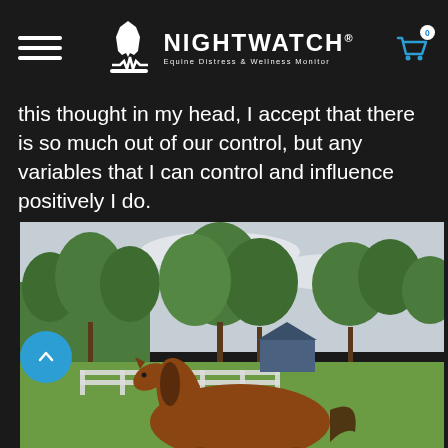NIGHTWATCH — Equine Distress & Wellness Monitor
this thought in my head, I accept that there is so much out of our control, but any variables that I can control and influence positively I do.
[Figure (photo): A chestnut horse standing in a green paddock with large trees and a white fence in the background, farm buildings visible, overcast sky.]